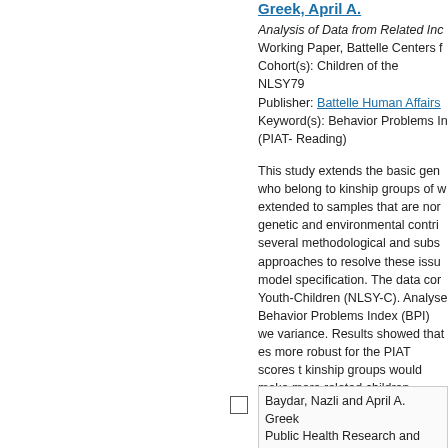Greek, April A.
Analysis of Data from Related Ind Working Paper, Battelle Centers f Cohort(s): Children of the NLSY79 Publisher: Battelle Human Affairs Keyword(s): Behavior Problems In (PIAT- Reading)
This study extends the basic gen who belong to kinship groups of w extended to samples that are not genetic and environmental contrib several methodological and subst approaches to resolve these issu model specification. The data cor Youth-Children (NLSY-C). Analyse Behavior Problems Index (BPI) we variance. Results showed that est more robust for the PIAT scores t kinship groups would make more related children.
Baydar, Nazli and April A. Greek Public Health Research and Eval